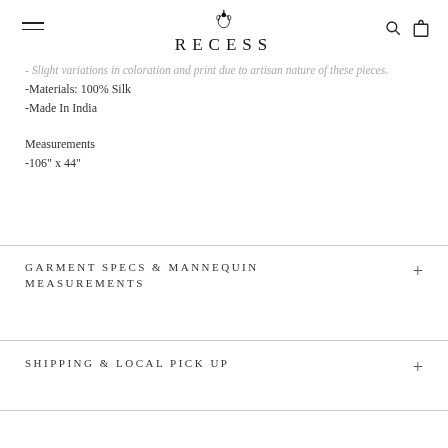RECESS
- Slight variations in coloration and print due to artisan nature of these pieces.
-Materials: 100% Silk
-Made In India
Measurements
-106" x 44"
GARMENT SPECS & MANNEQUIN MEASUREMENTS
SHIPPING & LOCAL PICK UP